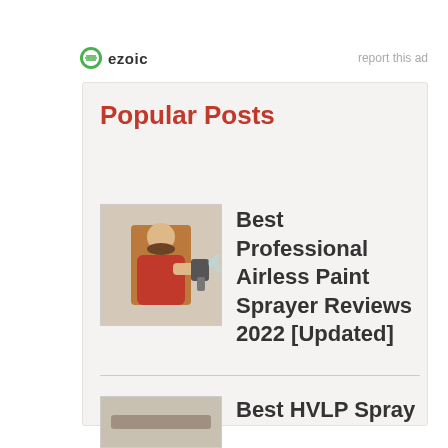[Figure (logo): Ezoic logo with green circular icon and 'ezoic' text in bold]
report this ad
Popular Posts
[Figure (photo): Thumbnail photo of a man using a paint sprayer]
Best Professional Airless Paint Sprayer Reviews 2022 [Updated]
[Figure (photo): Thumbnail photo related to HVLP spray]
Best HVLP Spray